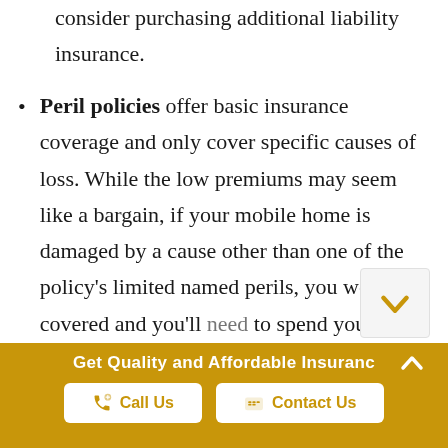consider purchasing additional liability insurance.
Peril policies offer basic insurance coverage and only cover specific causes of loss. While the low premiums may seem like a bargain, if your mobile home is damaged by a cause other than one of the policy's limited named perils, you won't be covered and you'll need to spend your own money to repair the
Get Quality and Affordable Insurance
Call Us
Contact Us